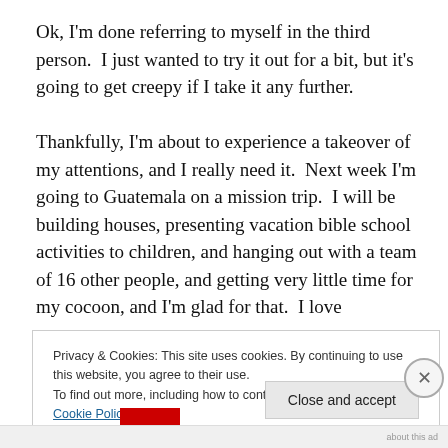Ok, I'm done referring to myself in the third person.  I just wanted to try it out for a bit, but it's going to get creepy if I take it any further.

Thankfully, I'm about to experience a takeover of my attentions, and I really need it.  Next week I'm going to Guatemala on a mission trip.  I will be building houses, presenting vacation bible school activities to children, and hanging out with a team of 16 other people, and getting very little time for my cocoon, and I'm glad for that.  I love
Privacy & Cookies: This site uses cookies. By continuing to use this website, you agree to their use.
To find out more, including how to control cookies, see here: Cookie Policy
Close and accept